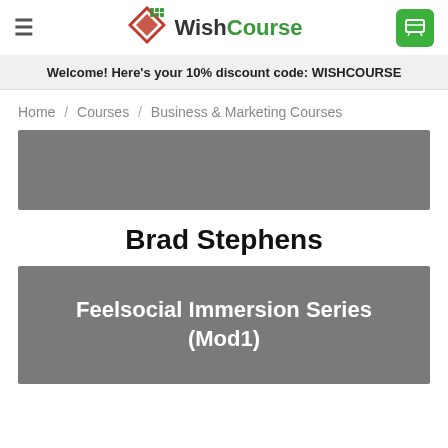WishCourse
Welcome! Here's your 10% discount code: WISHCOURSE
Home / Courses / Business & Marketing Courses
[Figure (other): Gray placeholder image banner]
Brad Stephens
[Figure (other): Gray course card banner with text: Feelsocial Immersion Series (Mod1)]